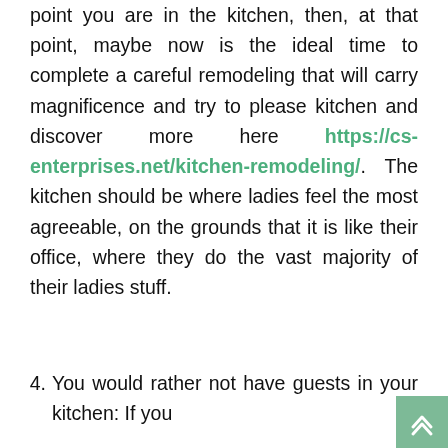point you are in the kitchen, then, at that point, maybe now is the ideal time to complete a careful remodeling that will carry magnificence and try to please kitchen and discover more here https://cs-enterprises.net/kitchen-remodeling/. The kitchen should be where ladies feel the most agreeable, on the grounds that it is like their office, where they do the vast majority of their ladies stuff.
4. You would rather not have guests in your kitchen: If you